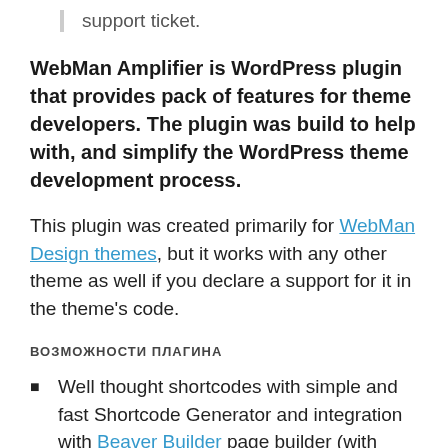support ticket.
WebMan Amplifier is WordPress plugin that provides pack of features for theme developers. The plugin was build to help with, and simplify the WordPress theme development process.
This plugin was created primarily for WebMan Design themes, but it works with any other theme as well if you declare a support for it in the theme's code.
ВОЗМОЖНОСТИ ПЛАГИНА
Well thought shortcodes with simple and fast Shortcode Generator and integration with Beaver Builder page builder (with support for WPML multilingual plugin)
Custom post types:
Projects — to create your own portfolios